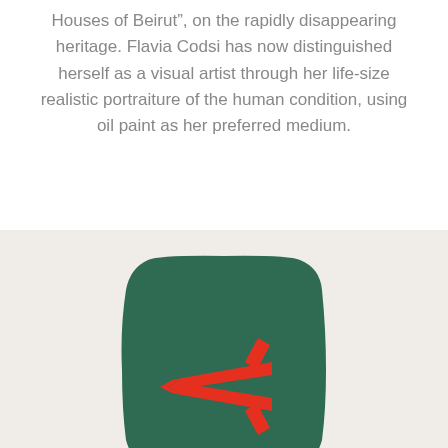Houses of Beirut", on the rapidly disappearing heritage. Flavia Codsi has now distinguished herself as a visual artist through her life-size realistic portraiture of the human condition, using oil paint as her preferred medium.
[Figure (logo): A dark green roughly square badge/tile shape with a red abstract brush-stroke symbol resembling an arrow or asterisk character on a light beige background]